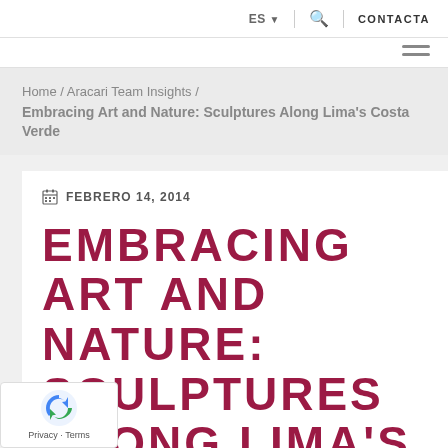ES  |  🔍  |  CONTACTA
≡ (hamburger menu)
Home / Aracari Team Insights / Embracing Art and Nature: Sculptures Along Lima's Costa Verde
📅 FEBRERO 14, 2014
EMBRACING ART AND NATURE: SCULPTURES ALONG LIMA'S